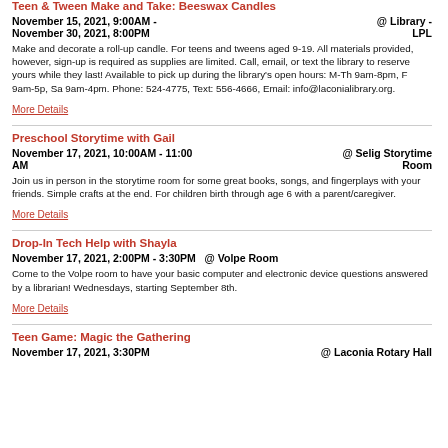Teen & Tween Make and Take: Beeswax Candles
November 15, 2021, 9:00AM - November 30, 2021, 8:00PM @ Library - LPL
Make and decorate a roll-up candle. For teens and tweens aged 9-19. All materials provided, however, sign-up is required as supplies are limited. Call, email, or text the library to reserve yours while they last! Available to pick up during the library's open hours: M-Th 9am-8pm, F 9am-5p, Sa 9am-4pm. Phone: 524-4775, Text: 556-4666, Email: info@laconialibrary.org.
More Details
Preschool Storytime with Gail
November 17, 2021, 10:00AM - 11:00 AM @ Selig Storytime Room
Join us in person in the storytime room for some great books, songs, and fingerplays with your friends. Simple crafts at the end. For children birth through age 6 with a parent/caregiver.
More Details
Drop-In Tech Help with Shayla
November 17, 2021, 2:00PM - 3:30PM @ Volpe Room
Come to the Volpe room to have your basic computer and electronic device questions answered by a librarian! Wednesdays, starting September 8th.
More Details
Teen Game: Magic the Gathering
November 17, 2021, 3:30PM @ Laconia Rotary Hall